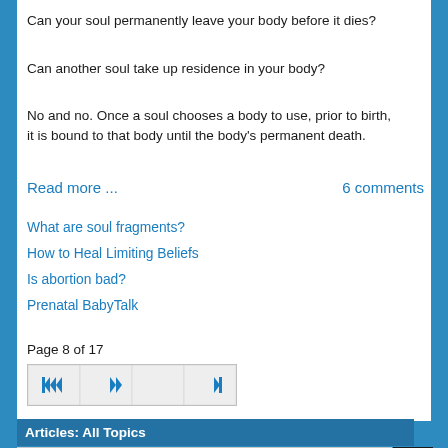Can your soul permanently leave your body before it dies?
Can another soul take up residence in your body?
No and no. Once a soul chooses a body to use, prior to birth, it is bound to that body until the body's permanent death.
Read more ...
6 comments
What are soul fragments?
How to Heal Limiting Beliefs
Is abortion bad?
Prenatal BabyTalk
Page 8 of 17
Articles: All Topics
Get Back Your Energy to Live Your Purpose
Unlocking Your Soul's Perspective
Five Accomplishments to Becoming One with Your Soul
3 Quick Ways to Get Grounded in Body and Soul (video)